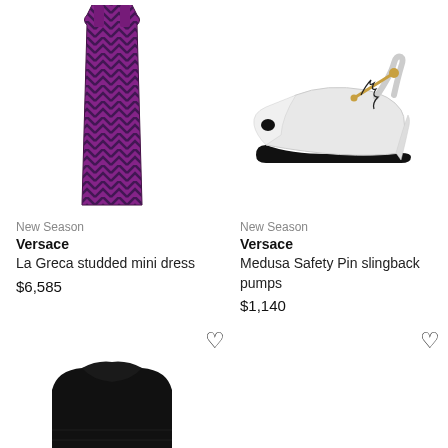[Figure (photo): Versace La Greca studded mini dress in purple/black geometric pattern]
[Figure (photo): Versace Medusa Safety Pin white slingback pumps with gold hardware]
New Season
Versace
La Greca studded mini dress
$6,585
New Season
Versace
Medusa Safety Pin slingback pumps
$1,140
[Figure (photo): Black knit sweater/top, partially visible at bottom of page]